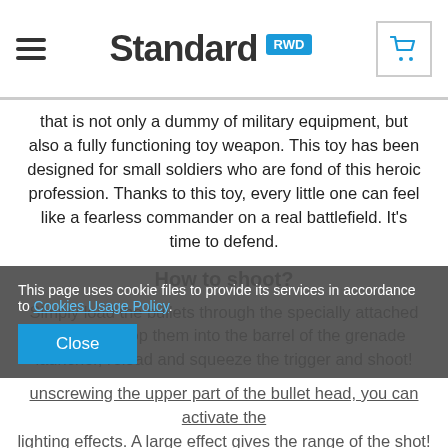Standard RWD
that is not only a dummy of military equipment, but also a fully functioning toy weapon. This toy has been designed for small soldiers who are fond of this heroic profession. Thanks to this toy, every little one can feel like a fearless commander on a real battlefield. It's time to defend.
How to shoot?
Simply load the bullets through the specially attached tool, then drop them into the barrel of the grenade launcher, reload and squeeze the trigger and shoot!
A specially mounted spring causes the ejection along with a realistic explosion and shooting sound. The grenade launcher is amazingly equipped. There is a torch on the side that will illuminate the surroundings, there is an eyepiece on top that will
unscrewing the upper part of the bullet head, you can activate the lighting effects. A large effect gives the range of the shot!